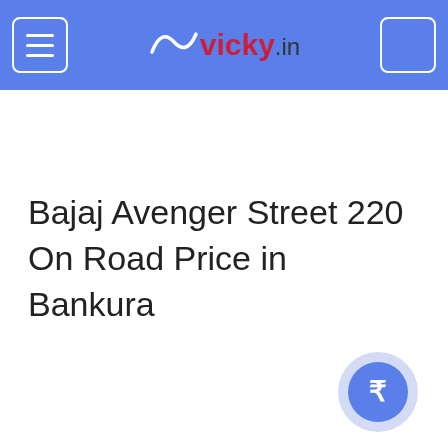vicky.in
Bajaj Avenger Street 220 On Road Price in Bankura
[Figure (illustration): Rupee currency symbol badge — a circular blue button with a white Indian Rupee (₹) symbol, surrounded by a lighter blue halo ring]